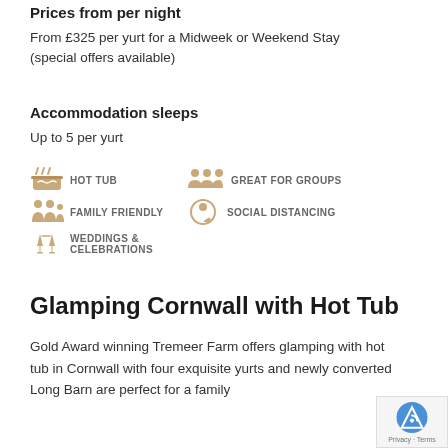Prices from per night
From £325 per yurt for a Midweek or Weekend Stay (special offers available)
Accommodation sleeps
Up to 5 per yurt
[Figure (infographic): Five amenity icons with labels: HOT TUB, GREAT FOR GROUPS, FAMILY FRIENDLY, SOCIAL DISTANCING, WEDDINGS & CELEBRATIONS]
Glamping Cornwall with Hot Tub
Gold Award winning Tremeer Farm offers glamping with hot tub in Cornwall with four exquisite yurts and newly converted Long Barn are perfect for a family